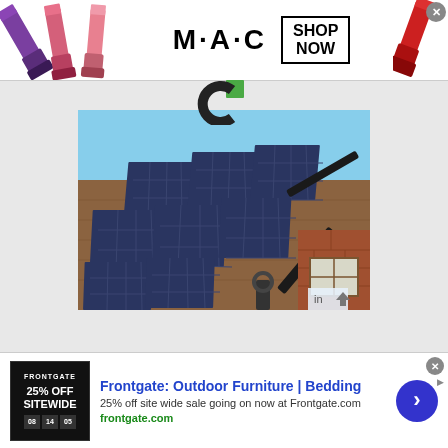[Figure (photo): MAC Cosmetics advertisement banner with lipsticks on left and right sides, MAC logo in center, and SHOP NOW box]
[Figure (logo): Circular logo with green and dark elements]
[Figure (photo): Solar panels mounted on a brick house roof against a blue sky]
Frontgate: Outdoor Furniture | Bedding
25% off site wide sale going on now at Frontgate.com
frontgate.com